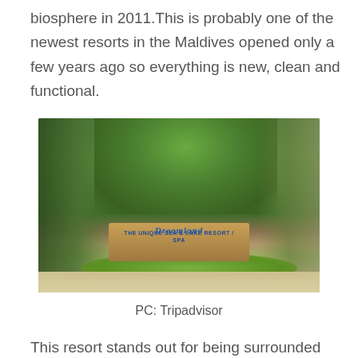biosphere in 2011.This is probably one of the newest resorts in the Maldives opened only a few years ago so everything is new, clean and functional.
[Figure (photo): Photo of a Dreamland resort sign surrounded by tropical trees and lush greenery, with the text 'Dreamland' in blue letters on a wooden sign with 'The Unique Sea & Lake Resort / Spa' written below]
PC: Tripadvisor
This resort stands out for being surrounded